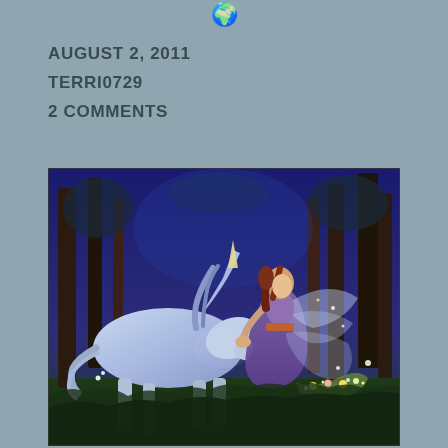🌐
AUGUST 2, 2011
TERRI0729
2 COMMENTS
[Figure (illustration): Fantasy illustration of a fairy woman in a purple dress with wings, holding flowers and gently touching the nose of a white unicorn in a dark, enchanted forest with blue lighting and trees in the background.]